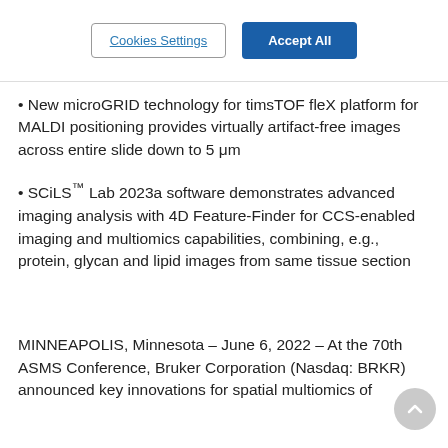New microGRID technology for timsTOF fleX platform for MALDI positioning provides virtually artifact-free images across entire slide down to 5 μm
SCiLS™ Lab 2023a software demonstrates advanced imaging analysis with 4D Feature-Finder for CCS-enabled imaging and multiomics capabilities, combining, e.g., protein, glycan and lipid images from same tissue section
MINNEAPOLIS, Minnesota – June 6, 2022 – At the 70th ASMS Conference, Bruker Corporation (Nasdaq: BRKR) announced key innovations for spatial multiomics of